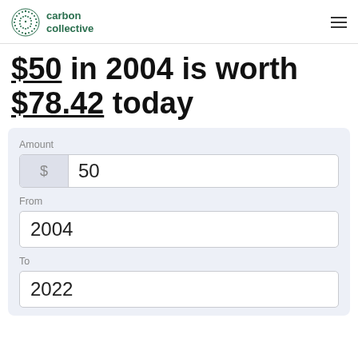carbon collective
$50 in 2004 is worth $78.42 today
Amount: $50, From: 2004, To: 2022